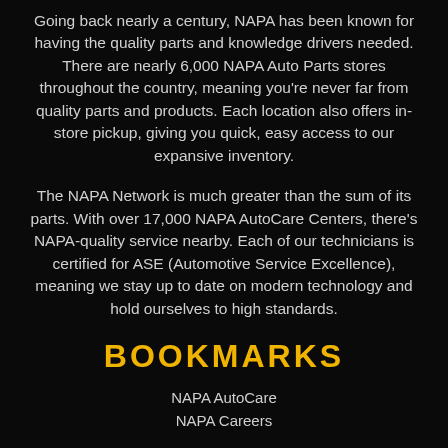Going back nearly a century, NAPA has been known for having the quality parts and knowledge drivers needed. There are nearly 6,000 NAPA Auto Parts stores throughout the country, meaning you're never far from quality parts and products. Each location also offers in-store pickup, giving you quick, easy access to our expansive inventory.
The NAPA Network is much greater than the sum of its parts. With over 17,000 NAPA AutoCare Centers, there's NAPA-quality service nearby. Each of our technicians is certified for ASE (Automotive Service Excellence), meaning we stay up to date on modern technology and hold ourselves to high standards.
BOOKMARKS
NAPA AutoCare
NAPA Careers